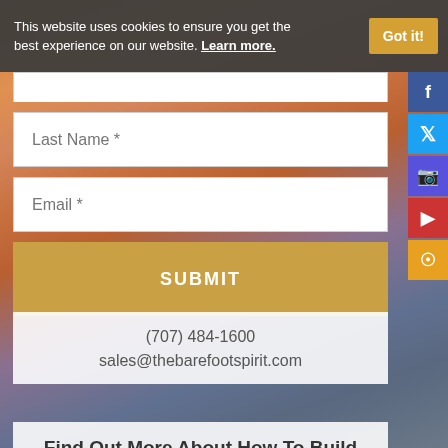This website uses cookies to ensure you get the best experience on our website. Learn more.
Last Name *
Email *
SUBMIT
(707) 484-1600
sales@thebarefootspirit.com
Find Out More About How To Build